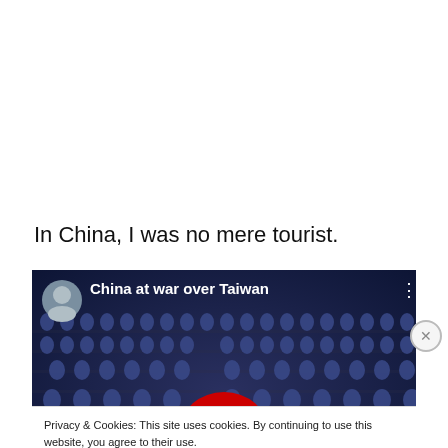In China, I was no mere tourist.
[Figure (screenshot): YouTube video embed thumbnail showing rows of Chinese soldiers in blue uniforms. Title overlay reads 'China at war over Taiwan'. A man's avatar photo is in the top-left corner. A red YouTube play button is centered on the image. Three dots menu icon is in top-right.]
Privacy & Cookies: This site uses cookies. By continuing to use this website, you agree to their use. To find out more, including how to control cookies, see here: Cookie Policy
Close and accept